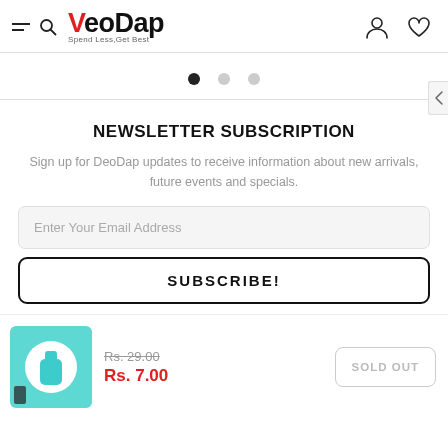DeoDap — Spend Less,Get Best
[Figure (screenshot): Carousel pagination dots: one filled black dot and two grey dots indicating a 3-slide carousel]
NEWSLETTER SUBSCRIPTION
Sign up for DeoDap updates to receive information about new arrivals, future events and specials.
Enter Your Email Address
SUBSCRIBE!
[Figure (photo): Product image: teal/cyan AirPods case silicone cover, displayed in a circular white frame on a teal background]
Rs. 29.00
Rs. 7.00
SOLD OUT